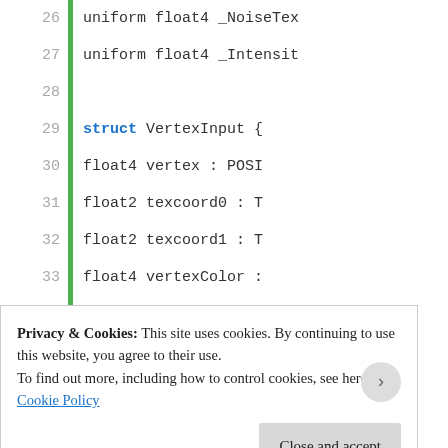[Figure (screenshot): Code editor screenshot showing HLSL/GLSL shader code, lines 26-43, with green vertical bar on left margin. Code includes struct VertexInput with float4 vertex, float2 texcoord0, float2 texcoord1, float4 vertexColor members; struct VertexOutput with float4 pos, float2 uv0, float2 uv1, float4 vertexColor members; and VertexOutput vert(Vertex... function start.]
Privacy & Cookies: This site uses cookies. By continuing to use this website, you agree to their use.
To find out more, including how to control cookies, see here: Cookie Policy